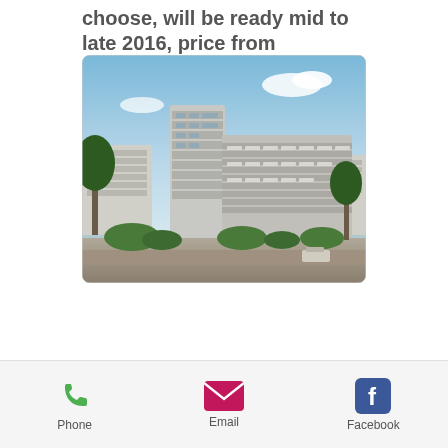choose, will be ready mid to late 2016, price from $670,000
[Figure (photo): Exterior rendering of a modern multi-storey residential apartment building with balconies, surrounded by greenery and trees under a blue sky.]
Phone  Email  Facebook